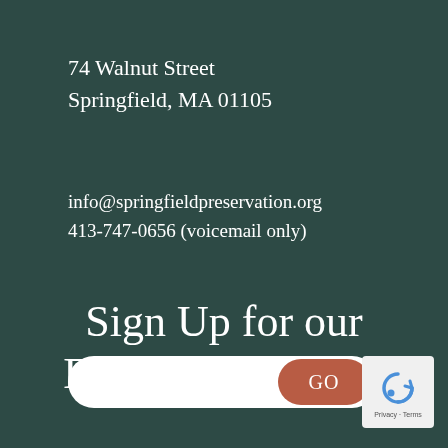74 Walnut Street
Springfield, MA 01105
info@springfieldpreservation.org
413-747-0656 (voicemail only)
Sign Up for our Email Newsletter!
[Figure (infographic): Email signup form with white rounded input field, a coral/red GO button, and a reCAPTCHA widget with recycling/arrows icon and Privacy/Terms text]